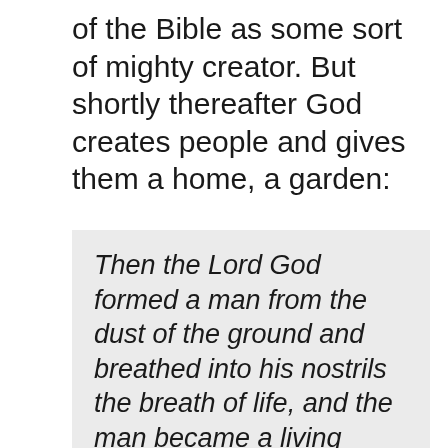of the Bible as some sort of mighty creator. But shortly thereafter God creates people and gives them a home, a garden:
Then the Lord God formed a man from the dust of the ground and breathed into his nostrils the breath of life, and the man became a living being. Now the Lord God had planted a garden in the east, in Eden; and there